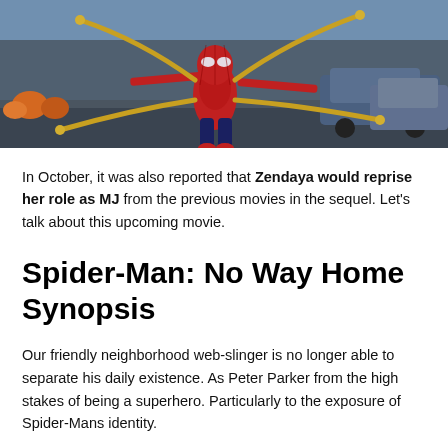[Figure (photo): Spider-Man in red and blue suit with mechanical arms spread wide, standing in a street scene with cars and orange pumpkins in background]
In October, it was also reported that Zendaya would reprise her role as MJ from the previous movies in the sequel. Let's talk about this upcoming movie.
Spider-Man: No Way Home Synopsis
Our friendly neighborhood web-slinger is no longer able to separate his daily existence. As Peter Parker from the high stakes of being a superhero. Particularly to the exposure of Spider-Mans identity.